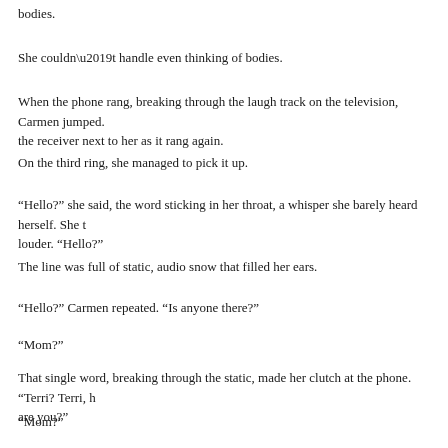bodies.
She couldn’t handle even thinking of bodies.
When the phone rang, breaking through the laugh track on the television, Carmen jumped. the receiver next to her as it rang again.
On the third ring, she managed to pick it up.
“Hello?” she said, the word sticking in her throat, a whisper she barely heard herself. She t louder. “Hello?”
The line was full of static, audio snow that filled her ears.
“Hello?” Carmen repeated. “Is anyone there?”
“Mom?”
That single word, breaking through the static, made her clutch at the phone. “Terri? Terri, h are you?”
“Mom?”
Carmen wept into the phone as she heard the familiar voice. “Yes, baby, it’s me, it’s Mom.